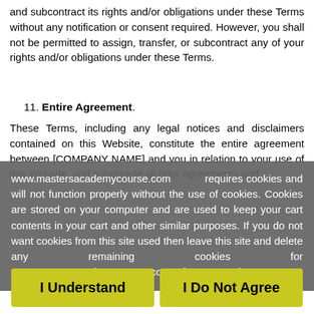and subcontract its rights and/or obligations under these Terms without any notification or consent required. However, you shall not be permitted to assign, transfer, or subcontract any of your rights and/or obligations under these Terms.
11. Entire Agreement.
These Terms, including any legal notices and disclaimers contained on this Website, constitute the entire agreement between [COMPANY NAME] and you in relation to your use of this Website, and supersede all prior agreements and
www.mastersacademycourse.com requires cookies and will not function properly without the use of cookies. Cookies are stored on your computer and are used to keep your cart contents in your cart and other similar purposes. If you do not want cookies from this site used then leave this site and delete any remaining cookies for www.mastersacademycourse.com from your browser.
I Understand
I Do Not Agree